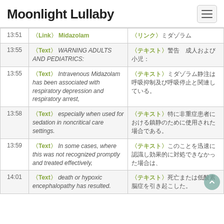Moonlight Lullaby
| Time | English | Japanese |
| --- | --- | --- |
| 13:51 | 〈Link〉 Midazolam | 〈リンク〉ミダゾラム |
| 13:55 | 〈Text〉 WARNING ADULTS AND PEDIATRICS: | 〈テキスト〉警告　成人および小児： |
| 13:55 | 〈Text〉 Intravenous Midazolam has been associated with respiratory depression and respiratory arrest, | 〈テキスト〉ミダゾラム静注は呼吸抑制及び呼吸停止と関連している。 |
| 13:58 | 〈Text〉 especially when used for sedation in noncritical care settings. | 〈テキスト〉特に非重症患者における鎮静のために使用された場合である。 |
| 13:59 | 〈Text〉 In some cases, where this was not recognized promptly and treated effectively, | 〈テキスト〉このことを迅速に認識し効果的に対処できなかった場合は、 |
| 14:01 | 〈Text〉 death or hypoxic encephalopathy has resulted. | 〈テキスト〉死亡または低酸素脳症を引き起こした。 |